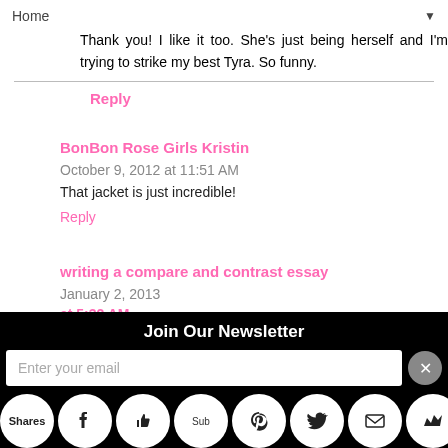Home ▼
Thank you! I like it too. She's just being herself and I'm trying to strike my best Tyra. So funny.
Reply
BonBon Rose Girls Kristin  October 9, 2012 at 11:51 AM
That jacket is just incredible!
Reply
writing a compare and contrast essay  January 2, 2013 at 5:32 AM
Join Our Newsletter
Enter your email
Shares